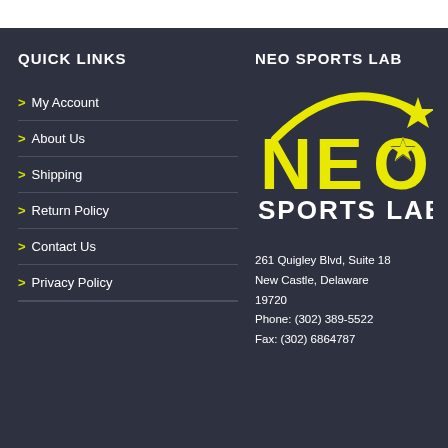QUICK LINKS
> My Account
> About Us
> Shipping
> Return Policy
> Contact Us
> Privacy Policy
NEO SPORTS LAB
[Figure (logo): NEO Sports Lab logo — yellow swoosh arc above bold yellow NEO text with a star in the O, and SPORTS LAB below in white/yellow on dark background]
261 Quigley Blvd, Suite 18
New Castle, Delaware 19720
Phone: (302) 389-5522
Fax: (302) 6864787